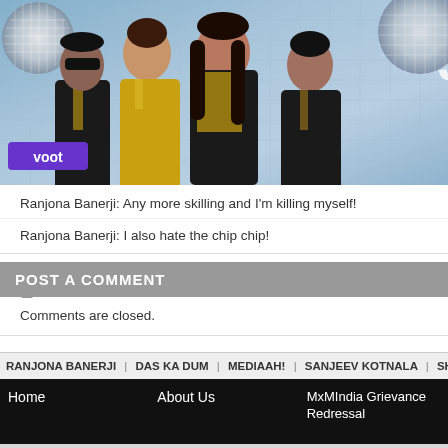[Figure (photo): Promotional banner image showing four Bollywood celebrities in gold/dark outfits in front of a glittery disco ball background with a Voot logo badge]
Ranjona Banerji: Any more skilling and I'm killing myself!
Ranjona Banerji: I also hate the chip chip!
POST A COMMENT
Comments are closed.
RANJONA BANERJI | DAS KA DUM | MEDIAAH! | SANJEEV KOTNALA | SHAIL
Home    About Us    MxMIndia Grievance Redressal
TEAM MxM
ADVERTISE
CONTACT US
EMAIL NEWSLETTER
CODE OF ETHICS
SMS ALERT
TERMS OF USE
PRIVACY POLICY